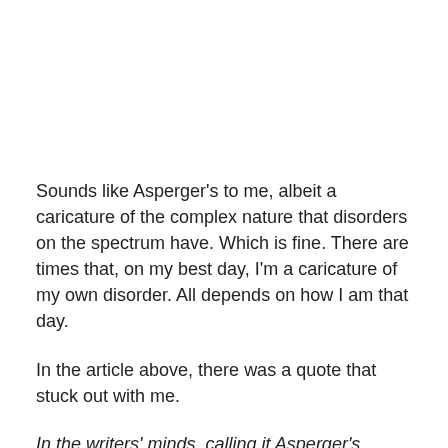Sounds like Asperger's to me, albeit a caricature of the complex nature that disorders on the spectrum have. Which is fine. There are times that, on my best day, I'm a caricature of my own disorder. All depends on how I am that day.
In the article above, there was a quote that stuck out with me.
In the writers' minds, calling it Asperger's creates too much of a burden to get the details right. There's also the danger